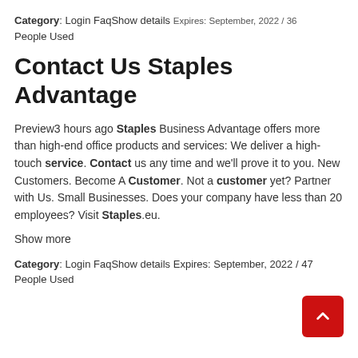Category: Login FaqShow details Expires: September, 2022 / 36 People Used
Contact Us Staples Advantage
Preview3 hours ago Staples Business Advantage offers more than high-end office products and services: We deliver a high-touch service. Contact us any time and we'll prove it to you. New Customers. Become A Customer. Not a customer yet? Partner with Us. Small Businesses. Does your company have less than 20 employees? Visit Staples.eu.
Show more
Category: Login FaqShow details Expires: September, 2022 / 47 People Used